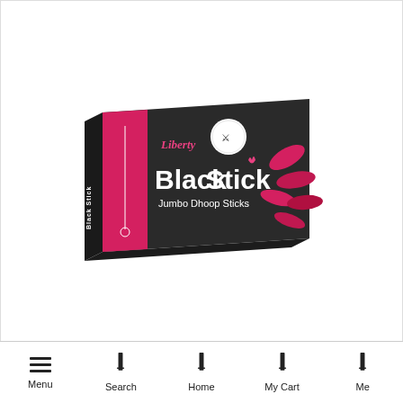[Figure (photo): Product photo of Liberty Black Stick Jumbo Dhoop Sticks box. The box is rectangular with a dark charcoal/black background on the right portion and a pink/magenta stripe on the left side. The left side panel shows the text 'Black Stick' written vertically. The front face shows the 'Liberty' brand name in cursive script in pink, a white circular logo with a figure, bold white text 'Black Stick', smaller white text 'Jumbo Dhoop Sticks', a dhoop stick illustration, and decorative red/pink petal shapes on the right side.]
Menu  Search  Home  My Cart  Me